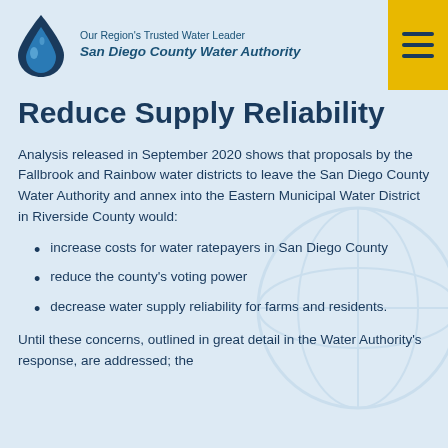Our Region's Trusted Water Leader San Diego County Water Authority
Reduce Supply Reliability
Analysis released in September 2020 shows that proposals by the Fallbrook and Rainbow water districts to leave the San Diego County Water Authority and annex into the Eastern Municipal Water District in Riverside County would:
increase costs for water ratepayers in San Diego County
reduce the county's voting power
decrease water supply reliability for farms and residents.
Until these concerns, outlined in great detail in the Water Authority's response, are addressed; the